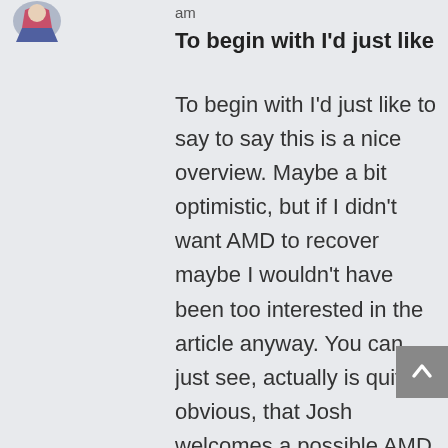[Figure (illustration): User avatar image in the top-left corner, partially visible]
am
To begin with I'd just like
To begin with I'd just like to say to say this is a nice overview. Maybe a bit optimistic, but if I didn't want AMD to recover maybe I wouldn't have been too interested in the article anyway. You can just see, actually is quite obvious, that Josh welcomes a possible AMD recovery, and why not? They have been worse, when they launched K7 it was laughable to spend more than